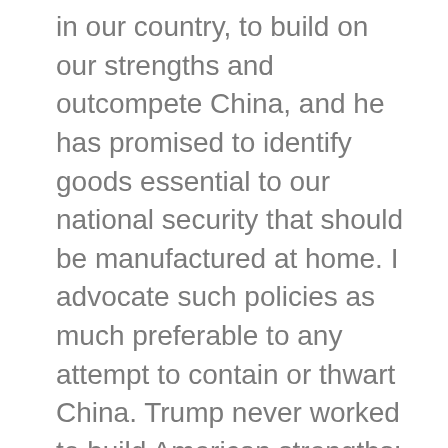in our country, to build on our strengths and outcompete China, and he has promised to identify goods essential to our national security that should be manufactured at home. I advocate such policies as much preferable to any attempt to contain or thwart China. Trump never worked to build American strengths; he mostly blamed others for our problems. Now that Trump's tariffs are in place, they make for good bargaining chips for Biden to try to achieve what Trump failed to: greater access to China's service markets, fewer Chinese subsidies, and fairer treatment of U.S. investors in China.